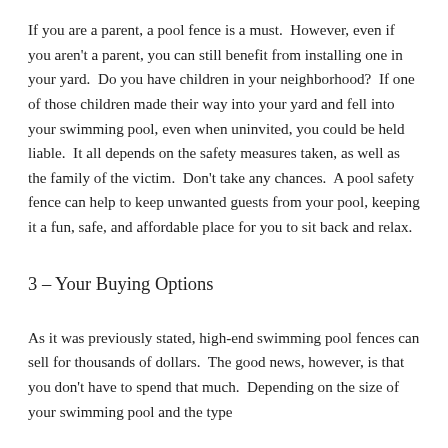If you are a parent, a pool fence is a must.  However, even if you aren't a parent, you can still benefit from installing one in your yard.  Do you have children in your neighborhood?  If one of those children made their way into your yard and fell into your swimming pool, even when uninvited, you could be held liable.  It all depends on the safety measures taken, as well as the family of the victim.  Don't take any chances.  A pool safety fence can help to keep unwanted guests from your pool, keeping it a fun, safe, and affordable place for you to sit back and relax.
3 – Your Buying Options
As it was previously stated, high-end swimming pool fences can sell for thousands of dollars.  The good news, however, is that you don't have to spend that much.  Depending on the size of your swimming pool and the type